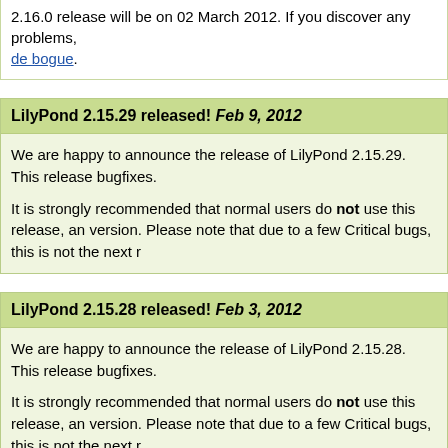2.16.0 release will be on 02 March 2012. If you discover any problems, de bogue.
LilyPond 2.15.29 released! Feb 9, 2012
We are happy to announce the release of LilyPond 2.15.29. This release bugfixes.
It is strongly recommended that normal users do not use this release, an version. Please note that due to a few Critical bugs, this is not the next r
LilyPond 2.15.28 released! Feb 3, 2012
We are happy to announce the release of LilyPond 2.15.28. This release bugfixes.
It is strongly recommended that normal users do not use this release, an version. Please note that due to a few Critical bugs, this is not the next r
LilyPond 2.15.27 released! Jan 24, 2012